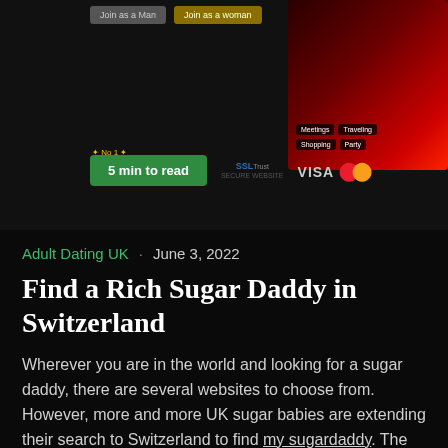[Figure (screenshot): Top banner showing a dating website screenshot with 'Join as a Man' and 'Join as a Woman' buttons, SSL Trust badge, VISA/Mastercard logos, a phone image with a woman in a red dress, and category tags: Meetings, Traveling, Shopping, Party. Also shows a green '5 min to read' badge and No1 badge.]
Adult Dating UK  ·  June 3, 2022
Find a Rich Sugar Daddy in Switzerland
Wherever you are in the world and looking for a sugar daddy, there are several websites to choose from. However, more and more UK sugar babies are extending their search to Switzerland to find my sugardaddy. The reason being that Swiss sugar daddies are among the wealthiest men in Europe. But